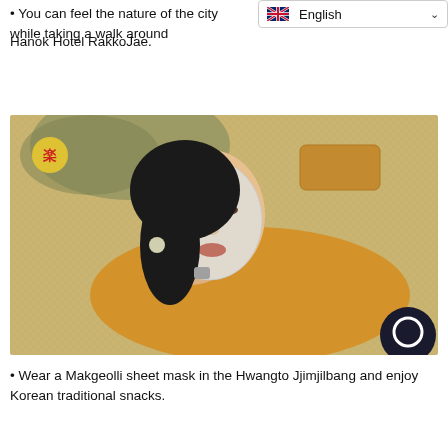English
• You can feel the nature of the city while taking a walk around Hanok Hotel RakkoJae.
[Figure (photo): A woman lying on a woven mat wearing a face sheet mask and yellow top, with yellow block pillows, dried herbs in background. Small circular logo in top left corner.]
• Wear a Makgeolli sheet mask in the Hwangto Jjimjilbang and enjoy Korean traditional snacks.